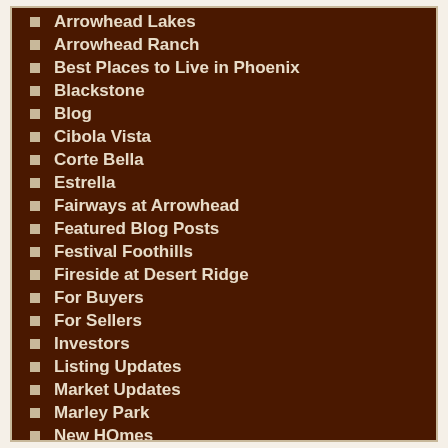Arrowhead Lakes
Arrowhead Ranch
Best Places to Live in Phoenix
Blackstone
Blog
Cibola Vista
Corte Bella
Estrella
Fairways at Arrowhead
Featured Blog Posts
Festival Foothills
Fireside at Desert Ridge
For Buyers
For Sellers
Investors
Listing Updates
Market Updates
Marley Park
New HOmes
Properties
Sun City Festival
Sun City Grand
Trilogy at Vistancia